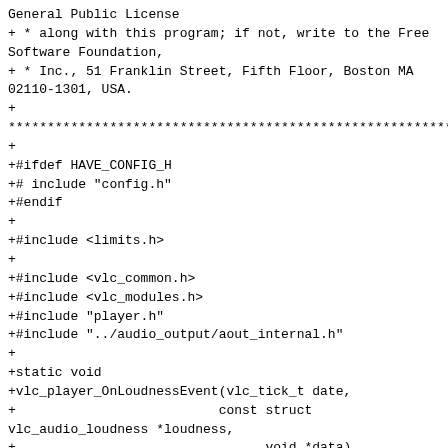General Public License
+ * along with this program; if not, write to the Free
Software Foundation,
+ * Inc., 51 Franklin Street, Fifth Floor, Boston MA
02110-1301, USA.
+
***********************************************************
+
+#ifdef HAVE_CONFIG_H
+# include "config.h"
+#endif
+
+#include <limits.h>
+
+#include <vlc_common.h>
+#include <vlc_modules.h>
+#include "player.h"
+#include "../audio_output/aout_internal.h"
+
+static void
+vlc_player_OnLoudnessEvent(vlc_tick_t date,
+                          const struct
vlc_audio_loudness *loudness,
+                                void *data)
+{
+    vlc_player_t *player = data;
+
+    vlc_mutex_lock(&player->metadata_listeners_lock);
+
+    vlc_player_metadata_listener_id *other_id;